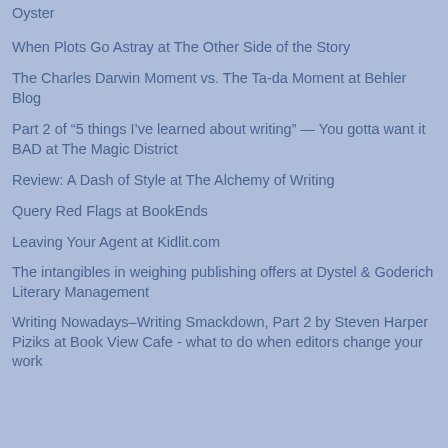Oyster
When Plots Go Astray at The Other Side of the Story
The Charles Darwin Moment vs. The Ta-da Moment at Behler Blog
Part 2 of “5 things I’ve learned about writing” — You gotta want it BAD at The Magic District
Review: A Dash of Style at The Alchemy of Writing
Query Red Flags at BookEnds
Leaving Your Agent at Kidlit.com
The intangibles in weighing publishing offers at Dystel & Goderich Literary Management
Writing Nowadays–Writing Smackdown, Part 2 by Steven Harper Piziks at Book View Cafe - what to do when editors change your work